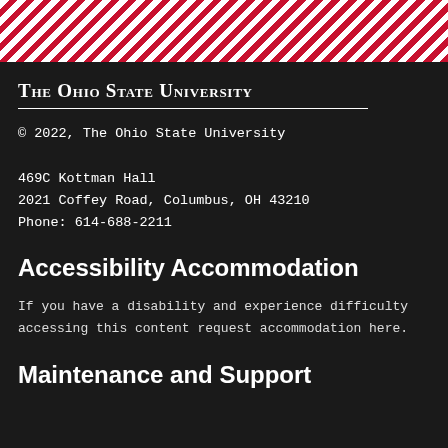[Figure (other): Red and white diagonal stripe decorative bar at the top of the page]
The Ohio State University
© 2022, The Ohio State University
469C Kottman Hall
2021 Coffey Road, Columbus, OH 43210
Phone: 614-688-2211
Accessibility Accommodation
If you have a disability and experience difficulty accessing this content request accommodation here.
Maintenance and Support